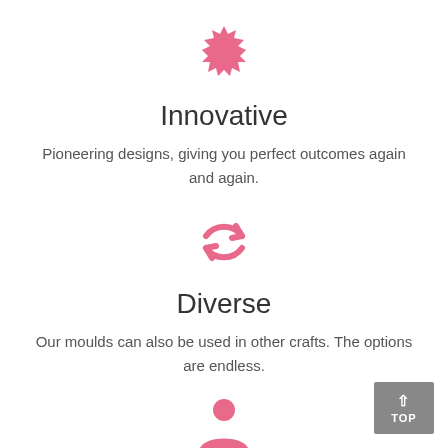[Figure (illustration): Pink starburst/medallion icon centered at top]
Innovative
Pioneering designs, giving you perfect outcomes again and again.
[Figure (illustration): Pink circular refresh/sync arrows icon]
Diverse
Our moulds can also be used in other crafts. The options are endless.
[Figure (illustration): Pink person/user silhouette icon at bottom center]
[Figure (illustration): Gray TOP button with upward arrow at bottom right]